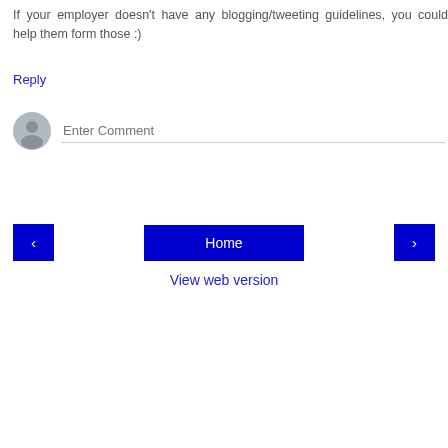If your employer doesn't have any blogging/tweeting guidelines, you could help them form those :)
Reply
[Figure (illustration): User avatar circle icon (gray silhouette) next to an 'Enter Comment' input field with a bottom border]
[Figure (screenshot): Navigation bar with three buttons: left arrow button (blue), Home button (blue, center), right arrow button (blue)]
View web version